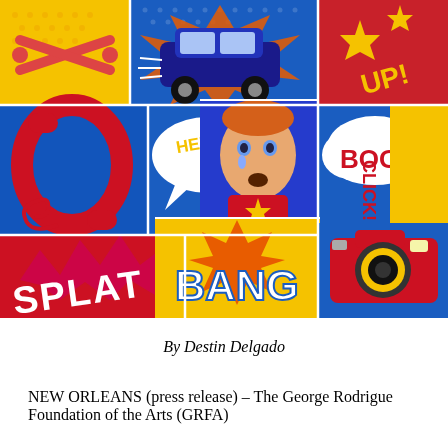[Figure (illustration): Pop art style painting with comic book panels featuring: a telephone, 'HELLO!' speech bubble, a crying face, 'BOOM!' text, 'CLICK!' text, a camera, 'BANG' text, 'SPLAT' text, a car, and various colorful comic-book style elements in red, blue, yellow, and orange. Artist: Destin Delgado.]
By Destin Delgado
NEW ORLEANS (press release) – The George Rodrigue Foundation of the Arts (GRFA)